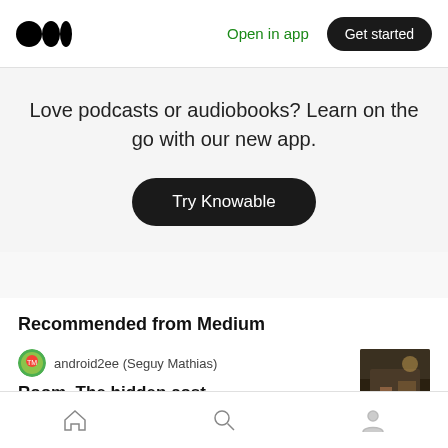Medium logo | Open in app | Get started
Love podcasts or audiobooks? Learn on the go with our new app.
Try Knowable
Recommended from Medium
android2ee (Seguy Mathias)
Room. The hidden cost.
Home | Search | Profile